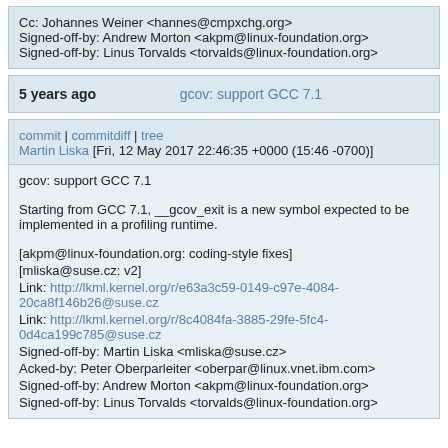Cc: Johannes Weiner <hannes@cmpxchg.org>
Signed-off-by: Andrew Morton <akpm@linux-foundation.org>
Signed-off-by: Linus Torvalds <torvalds@linux-foundation.org>
5 years ago    gcov: support GCC 7.1
commit | commitdiff | tree
Martin Liska [Fri, 12 May 2017 22:46:35 +0000 (15:46 -0700)]
gcov: support GCC 7.1

Starting from GCC 7.1, __gcov_exit is a new symbol expected to be implemented in a profiling runtime.

[akpm@linux-foundation.org: coding-style fixes]
[mliska@suse.cz: v2]
Link: http://lkml.kernel.org/r/e63a3c59-0149-c97e-4084-20ca8f146b26@suse.cz
Link: http://lkml.kernel.org/r/8c4084fa-3885-29fe-5fc4-0d4ca199c785@suse.cz
Signed-off-by: Martin Liska <mliska@suse.cz>
Acked-by: Peter Oberparleiter <oberpar@linux.vnet.ibm.com>
Signed-off-by: Andrew Morton <akpm@linux-foundation.org>
Signed-off-by: Linus Torvalds <torvalds@linux-foundation.org>